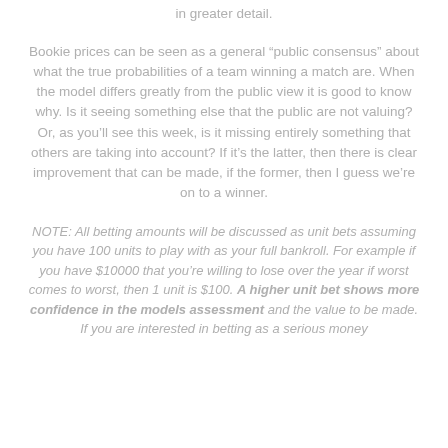in greater detail.
Bookie prices can be seen as a general “public consensus” about what the true probabilities of a team winning a match are. When the model differs greatly from the public view it is good to know why. Is it seeing something else that the public are not valuing? Or, as you’ll see this week, is it missing entirely something that others are taking into account? If it’s the latter, then there is clear improvement that can be made, if the former, then I guess we’re on to a winner.
NOTE: All betting amounts will be discussed as unit bets assuming you have 100 units to play with as your full bankroll. For example if you have $10000 that you’re willing to lose over the year if worst comes to worst, then 1 unit is $100. A higher unit bet shows more confidence in the models assessment and the value to be made. If you are interested in betting as a serious money